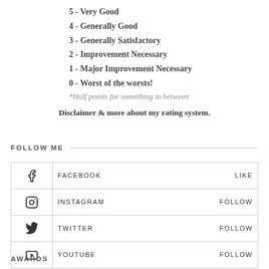5 - Very Good
4 - Generally Good
3 - Generally Satisfactory
2 - Improvement Necessary
1 - Major Improvement Necessary
0 - Worst of the worsts!
*Half points for something in between
Disclaimer & more about my rating system.
FOLLOW ME
| Icon | Platform | Action |
| --- | --- | --- |
| f | FACEBOOK | LIKE |
| instagram-icon | INSTAGRAM | FOLLOW |
| twitter-icon | TWITTER | FOLLOW |
| youtube-icon | YOUTUBE | FOLLOW |
AWARDS